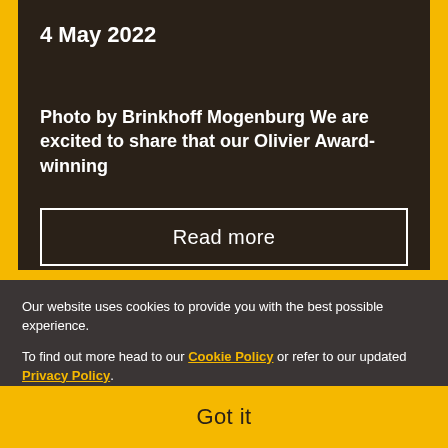4 May 2022
Photo by Brinkhoff Mogenburg We are excited to share that our Olivier Award-winning
Read more
Our website uses cookies to provide you with the best possible experience.
To find out more head to our Cookie Policy or refer to our updated Privacy Policy.
Got it